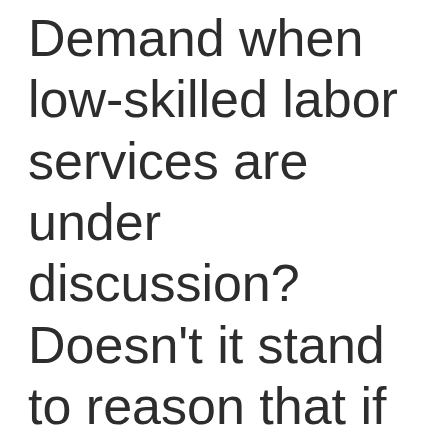Demand when low-skilled labor services are under discussion? Doesn't it stand to reason that if the government mandates a higher